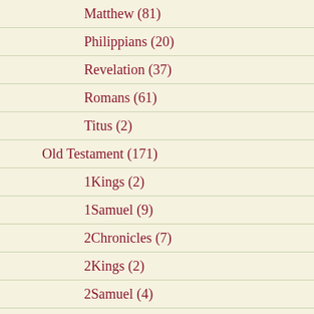Matthew (81)
Philippians (20)
Revelation (37)
Romans (61)
Titus (2)
Old Testament (171)
1Kings (2)
1Samuel (9)
2Chronicles (7)
2Kings (2)
2Samuel (4)
Daniel (7)
Ecclesiastes (5)